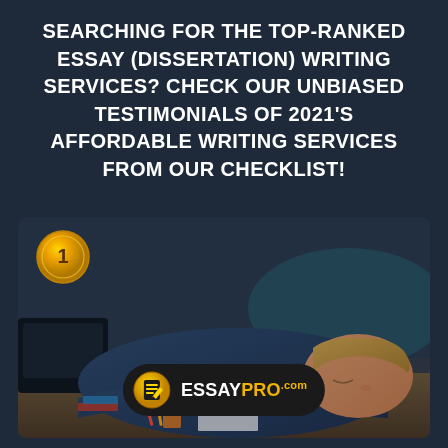SEARCHING FOR THE TOP-RANKED ESSAY (DISSERTATION) WRITING SERVICES? CHECK OUR UNBIASED TESTIMONIALS OF 2021'S AFFORDABLE WRITING SERVICES FROM OUR CHECKLIST!
[Figure (photo): A student sleeping face-down on a desk with books and a laptop, overlaid with a gold #1 medal badge in the top-left corner and an EssayPro.com logo bar at the bottom.]